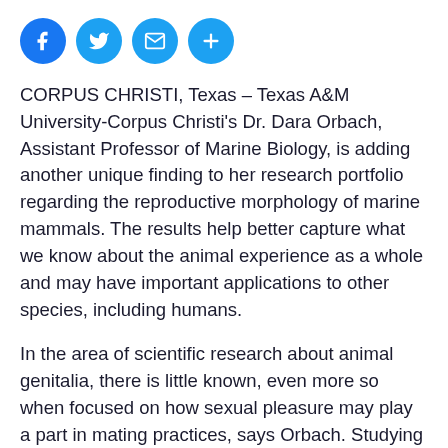[Figure (other): Row of four social media sharing icon buttons: Facebook (blue circle with f), Twitter (blue circle with bird), Email (blue circle with envelope), More/Plus (blue circle with plus sign)]
CORPUS CHRISTI, Texas – Texas A&M University-Corpus Christi's Dr. Dara Orbach, Assistant Professor of Marine Biology, is adding another unique finding to her research portfolio regarding the reproductive morphology of marine mammals. The results help better capture what we know about the animal experience as a whole and may have important applications to other species, including humans.
In the area of scientific research about animal genitalia, there is little known, even more so when focused on how sexual pleasure may play a part in mating practices, says Orbach. Studying bottlenose dolphins specifically, Orbach alongside a team of expert researchers including Dr. Patricia Brennan of Mount Holyoke College and Dr. by the Co-note of